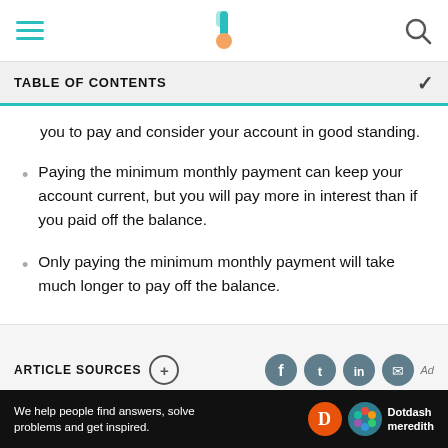TABLE OF CONTENTS
you to pay and consider your account in good standing.
Paying the minimum monthly payment can keep your account current, but you will pay more in interest than if you paid off the balance.
Only paying the minimum monthly payment will take much longer to pay off the balance.
ARTICLE SOURCES
We help people find answers, solve problems and get inspired. Dotdash meredith